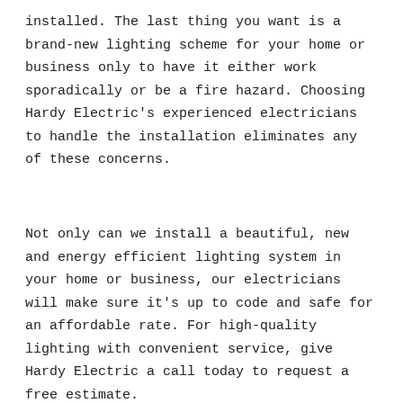installed. The last thing you want is a brand-new lighting scheme for your home or business only to have it either work sporadically or be a fire hazard. Choosing Hardy Electric's experienced electricians to handle the installation eliminates any of these concerns.
Not only can we install a beautiful, new and energy efficient lighting system in your home or business, our electricians will make sure it's up to code and safe for an affordable rate. For high-quality lighting with convenient service, give Hardy Electric a call today to request a free estimate.